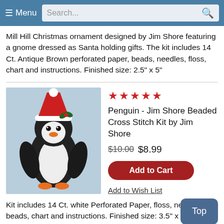Menu | Search...
Mill Hill Christmas ornament designed by Jim Shore featuring a gnome dressed as Santa holding gifts. The kit includes 14 Ct. Antique Brown perforated paper, beads, needles, floss, chart and instructions. Finished size: 2.5" x 5"
[Figure (photo): Cross-stitch beaded penguin wearing a Santa hat with holly, standing upright on a light blue background]
★★★★★ Penguin - Jim Shore Beaded Cross Stitch Kit by Jim Shore
$10.00 $8.99
Add to Cart
Add to Wish List
Kit includes 14 Ct. white Perforated Paper, floss, needles, beads, chart and instructions. Finished size: 3.5" x 5"